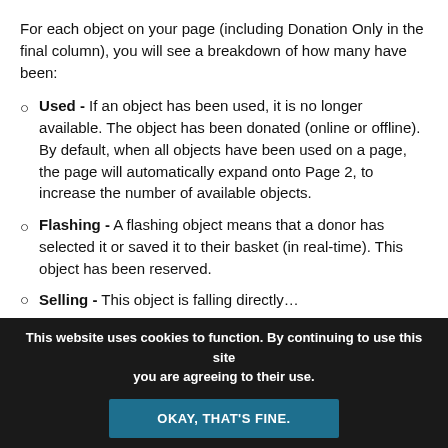For each object on your page (including Donation Only in the final column), you will see a breakdown of how many have been:
Used - If an object has been used, it is no longer available. The object has been donated (online or offline). By default, when all objects have been used on a page, the page will automatically expand onto Page 2, to increase the number of available objects.
Flashing - A flashing object means that a donor has selected it or saved it to their basket (in real-time). This object has been reserved.
[partially visible list item]
This website uses cookies to function. By continuing to use this site you are agreeing to their use. OKAY, THAT'S FINE.